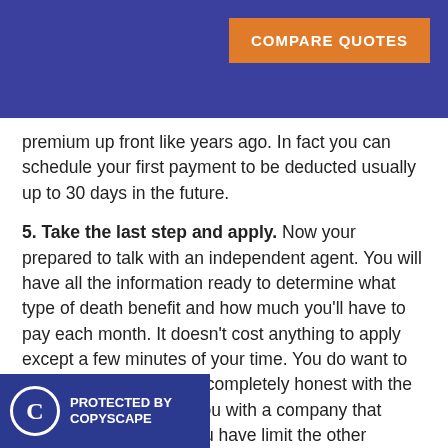COMPARE QUOTES
premium up front like years ago.  In fact you can schedule your first payment to be deducted usually up to 30 days in the future.
5. Take the last step and apply.  Now your prepared to talk with an independent agent.  You will have all the information ready to determine what type of death benefit and how much you'll have to pay each month.  It doesn't cost anything to apply except a few minutes of your time.  You do want to make sure that you are completely honest with the agent so we don't put you with a company that would decline you. If you have limit the other companies we could look at as an alternative.